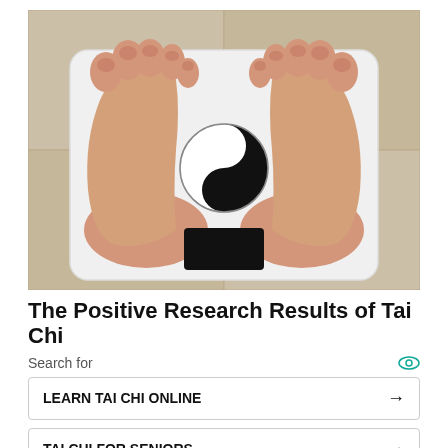[Figure (photo): Overhead view of a person's bare feet standing on a white bathroom scale that has a yin-yang symbol in the center and a black digital display window at the bottom.]
The Positive Research Results of Tai Chi
Search for
LEARN TAI CHI ONLINE →
TAI CHI FOR SENIORS →
Ad | Business Focus